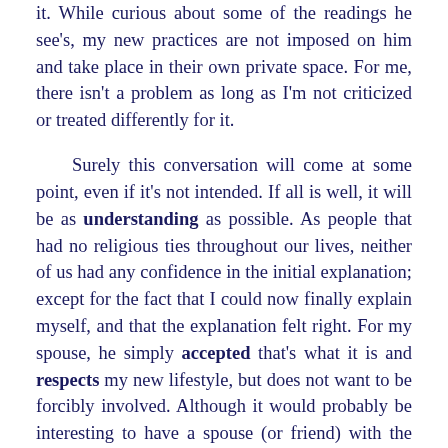it. While curious about some of the readings he see's, my new practices are not imposed on him and take place in their own private space. For me, there isn't a problem as long as I'm not criticized or treated differently for it.

Surely this conversation will come at some point, even if it's not intended. If all is well, it will be as understanding as possible. As people that had no religious ties throughout our lives, neither of us had any confidence in the initial explanation; except for the fact that I could now finally explain myself, and that the explanation felt right. For my spouse, he simply accepted that's what it is and respects my new lifestyle, but does not want to be forcibly involved. Although it would probably be interesting to have a spouse (or friend) with the same hobbies, I don't think there is a better outcome than to accept